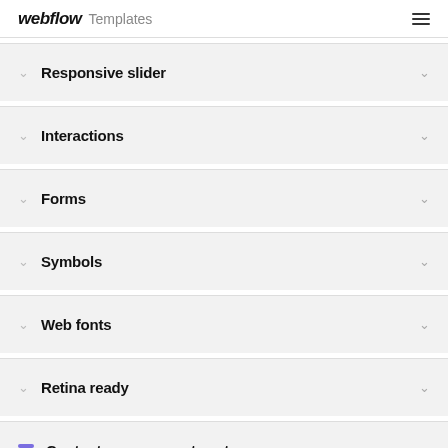webflow Templates
Responsive slider
Interactions
Forms
Symbols
Web fonts
Retina ready
Content management system